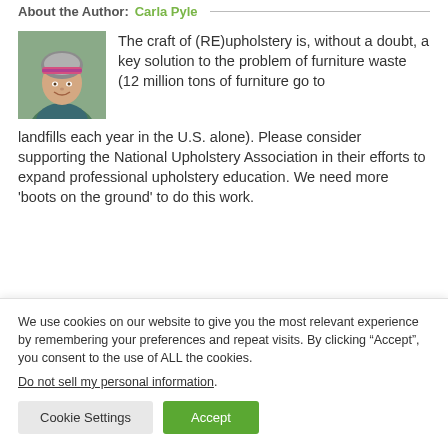About the Author: Carla Pyle
[Figure (photo): Headshot photo of Carla Pyle, a woman with short gray-streaked hair and a colorful headband, smiling outdoors]
The craft of (RE)upholstery is, without a doubt, a key solution to the problem of furniture waste (12 million tons of furniture go to landfills each year in the U.S. alone). Please consider supporting the National Upholstery Association in their efforts to expand professional upholstery education. We need more 'boots on the ground' to do this work.
We use cookies on our website to give you the most relevant experience by remembering your preferences and repeat visits. By clicking “Accept”, you consent to the use of ALL the cookies.
Do not sell my personal information.